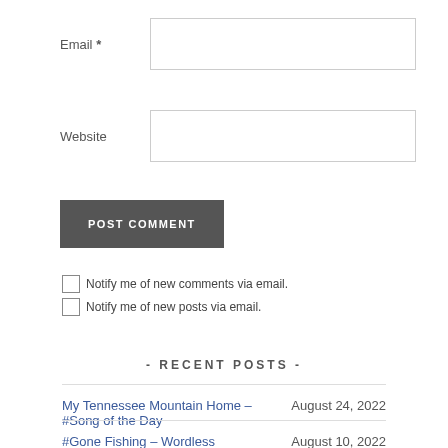Email *
Website
POST COMMENT
Notify me of new comments via email.
Notify me of new posts via email.
- RECENT POSTS -
My Tennessee Mountain Home – #Song of the Day  August 24, 2022
#Gone Fishing – Wordless Wednesday  August 10, 2022